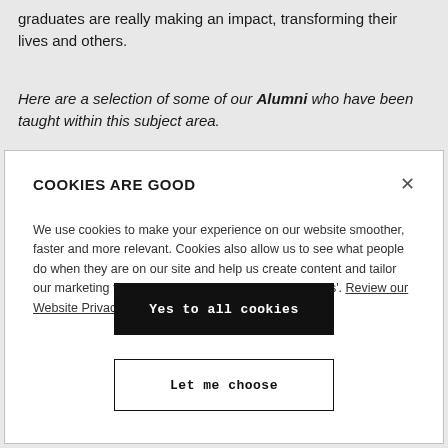graduates are really making an impact, transforming their lives and others.
Here are a selection of some of our Alumni who have been taught within this subject area.
COOKIES ARE GOOD
We use cookies to make your experience on our website smoother, faster and more relevant. Cookies also allow us to see what people do when they are on our site and help us create content and tailor our marketing to you. So go on, click 'yes to all cookies'. Review our Website Privacy Policy